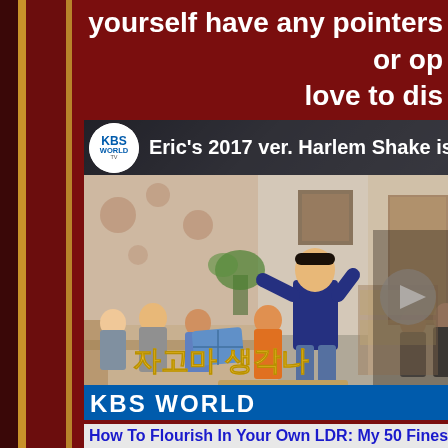yourself have any pointers or op... love to dis...
[Figure (screenshot): KBS World YouTube video thumbnail showing Eric's 2017 ver. Harlem Shake. A man in a blue sweater is dancing in a living room while others sit on a couch watching and laughing. Korean text overlay reads characters for 'small thought'. KBS WORLD blue bar at bottom.]
How To Flourish In Your Own LDR: My 50 Fines...